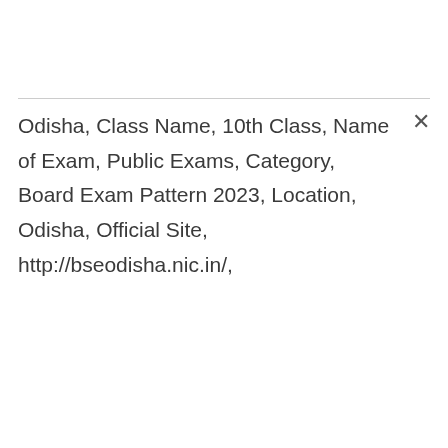Odisha, Class Name, 10th Class, Name of Exam, Public Exams, Category, Board Exam Pattern 2023, Location, Odisha, Official Site, http://bseodisha.nic.in/,